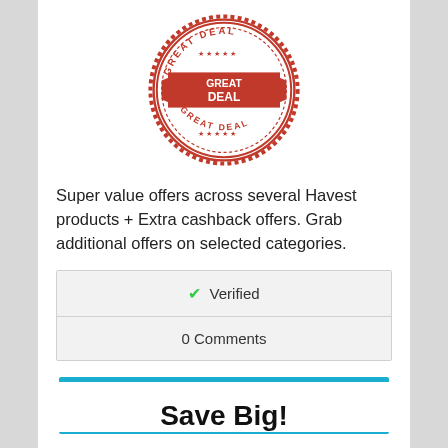[Figure (logo): Red circular stamp badge with text 'GREAT DEAL' repeated on banner and around the circle border, with stars]
Super value offers across several Havest products + Extra cashback offers. Grab additional offers on selected categories.
| ✔ Verified |
| 0 Comments |
Get Deal
Save Big!